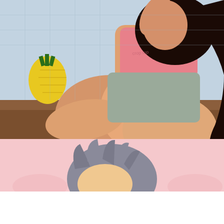[Figure (photo): Photo of a young woman in a pink crop top and gray shorts, sitting on a floor near a pineapple decoration and blue tiled background.]
Isabel (25) ASHBURN 🔒
Single girl looking for a man 💌
ToroDate
[Figure (illustration): Partial illustration/cartoon showing a character with gray hair against a pink background.]